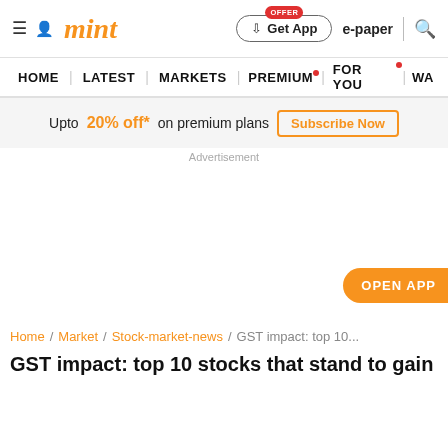mint — Get App | e-paper | search
HOME | LATEST | MARKETS | PREMIUM | FOR YOU | WA
Upto 20% off* on premium plans  Subscribe Now
Advertisement
OPEN APP
Home / Market / Stock-market-news / GST impact: top 10...
GST impact: top 10 stocks that stand to gain